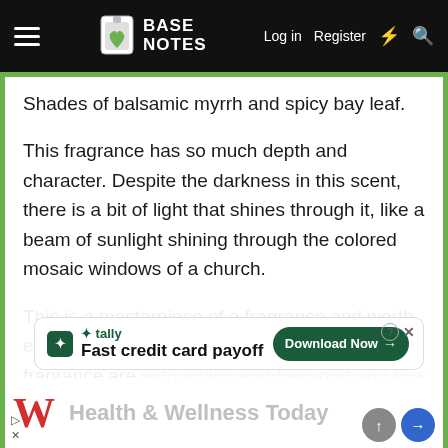BASE NOTES | Log in | Register
Shades of balsamic myrrh and spicy bay leaf.
This fragrance has so much depth and character. Despite the darkness in this scent, there is a bit of light that shines through it, like a beam of sunlight shining through the colored mosaic windows of a church.
This is a masterpiece of a fragrance and worth every penny. The depth and character in this fragrance are astounding and transport you to a place of comfort
[Figure (screenshot): Tally app advertisement overlay: 'Fast credit card payoff' with Download Now button]
Health & Wellness Today